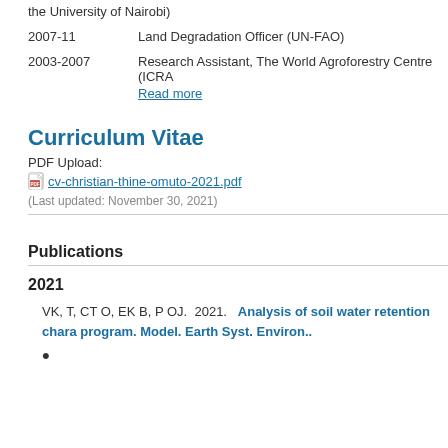the University of Nairobi)
2007-11    Land Degradation Officer (UN-FAO)
2003-2007    Research Assistant, The World Agroforestry Centre (ICRA
Read more
Curriculum Vitae
PDF Upload:
cv-christian-thine-omuto-2021.pdf
(Last updated: November 30, 2021)
Publications
2021
VK, T, CT O, EK B, P OJ.  2021.   Analysis of soil water retention chara program. Model. Earth Syst. Environ..
•